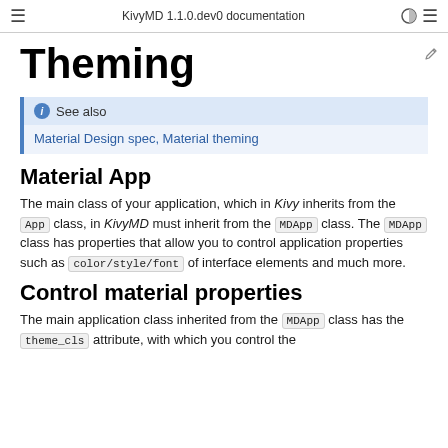KivyMD 1.1.0.dev0 documentation
Theming
See also
Material Design spec, Material theming
Material App
The main class of your application, which in Kivy inherits from the App class, in KivyMD must inherit from the MDApp class. The MDApp class has properties that allow you to control application properties such as color/style/font of interface elements and much more.
Control material properties
The main application class inherited from the MDApp class has the theme_cls attribute, with which you control the